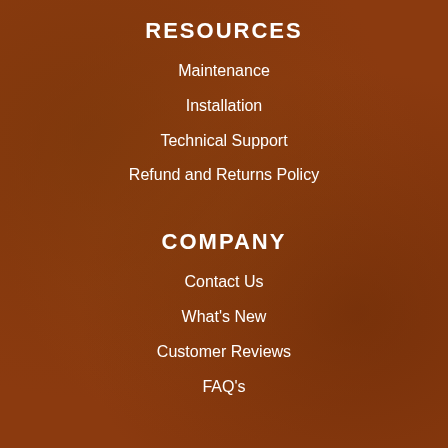RESOURCES
Maintenance
Installation
Technical Support
Refund and Returns Policy
COMPANY
Contact Us
What's New
Customer Reviews
FAQ's